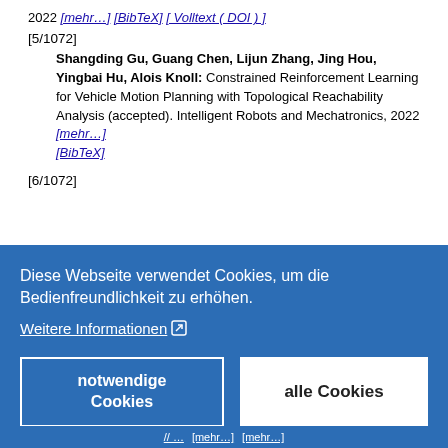2022 [mehr…] [BibTeX] [ Volltext ( DOI ) ]
[5/1072]
Shangding Gu, Guang Chen, Lijun Zhang, Jing Hou, Yingbai Hu, Alois Knoll: Constrained Reinforcement Learning for Vehicle Motion Planning with Topological Reachability Analysis (accepted). Intelligent Robots and Mechatronics, 2022 [mehr…] [BibTeX]
[6/1072]
Diese Webseite verwendet Cookies, um die Bedienfreundlichkeit zu erhöhen.
Weitere Informationen
notwendige Cookies
alle Cookies